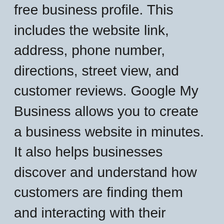free business profile. This includes the website link, address, phone number, directions, street view, and customer reviews. Google My Business allows you to create a business website in minutes. It also helps businesses discover and understand how customers are finding them and interacting with their business. No other Map tool can deliver an all-comprehensive service like Google Maps.
6. The Android platform will take a huge hit
Google's Android accounts for nearly 75% of the global smartphone market share. Also, Google Play Store is one of the biggest online app stores in the world. So, if a business